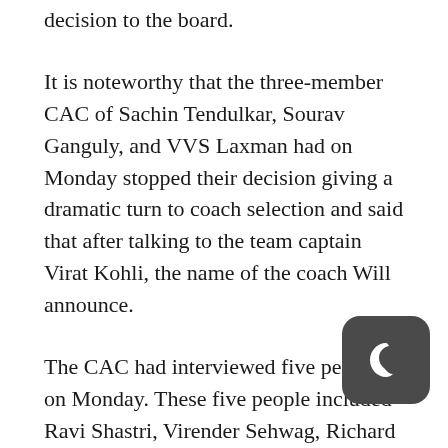decision to the board.
It is noteworthy that the three-member CAC of Sachin Tendulkar, Sourav Ganguly, and VVS Laxman had on Monday stopped their decision giving a dramatic turn to coach selection and said that after talking to the team captain Virat Kohli, the name of the coach Will announce.
The CAC had interviewed five people on Monday. These five people included Ravi Shastri, Virender Sehwag, Richard Pybus, Lalchand Rajput and Tom Moody.
Ganguly said after taking an interview for the coach on Monday, “We have decided that we will stop the announcement of the name of coach next for